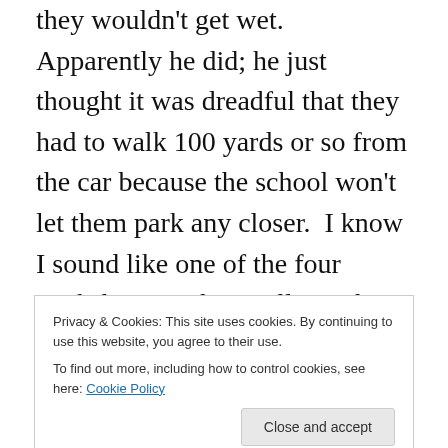they wouldn't get wet.  Apparently he did; he just thought it was dreadful that they had to walk 100 yards or so from the car because the school won't let them park any closer.  I know I sound like one of the four Yorkshiremen but really – when we were kids we had to walk  half a mile to school.  There was no bus and we didn't have a car.  I have vivid memories of spending the day in clothes and shoes so wet that they weren't even dry by the time we went home.  All the kids were in the same situation though, with every schoolroom redolent with the scent of damp child and
Privacy & Cookies: This site uses cookies. By continuing to use this website, you agree to their use.
To find out more, including how to control cookies, see here: Cookie Policy
not that any of us thought she wasn't – but it means she'll